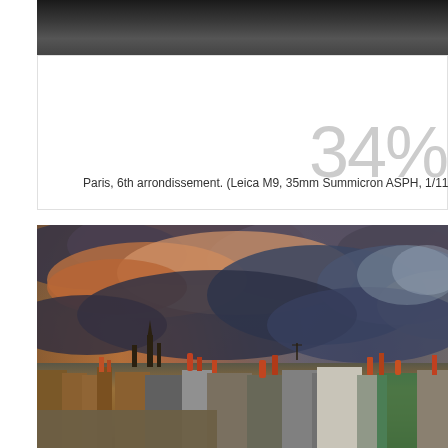[Figure (photo): Top portion of a photograph, dark urban scene, partially cropped]
34%
Paris, 6th arrondissement. (Leica M9, 35mm Summicron ASPH, 1/11 sec at f2, 8
[Figure (photo): Dramatic photograph of Paris rooftops with stormy sky at sunset/dusk, Notre-Dame cathedral visible in background, orange and dark blue storm clouds overhead]